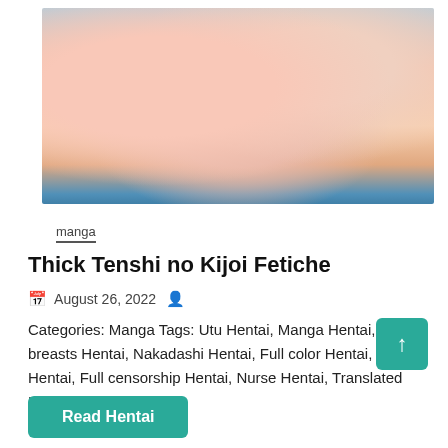[Figure (illustration): Manga/anime style cover art showing illustrated characters in pink and blue tones]
manga
Thick Tenshi no Kijoi Fetiche
August 26, 2022
Categories: Manga Tags: Utu Hentai, Manga Hentai, Big breasts Hentai, Nakadashi Hentai, Full color Hentai, X-ray Hentai, Full censorship Hentai, Nurse Hentai, Translated Hentai, Chinese
Read Hentai